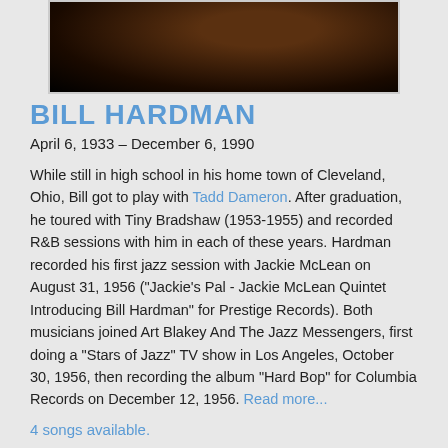[Figure (photo): Close-up photo of Bill Hardman, partially visible face against dark background with yellow visible at corner]
BILL HARDMAN
April 6, 1933 – December 6, 1990
While still in high school in his home town of Cleveland, Ohio, Bill got to play with Tadd Dameron. After graduation, he toured with Tiny Bradshaw (1953-1955) and recorded R&B sessions with him in each of these years. Hardman recorded his first jazz session with Jackie McLean on August 31, 1956 ("Jackie's Pal - Jackie McLean Quintet Introducing Bill Hardman" for Prestige Records). Both musicians joined Art Blakey And The Jazz Messengers, first doing a "Stars of Jazz" TV show in Los Angeles, October 30, 1956, then recording the album "Hard Bop" for Columbia Records on December 12, 1956. Read more...
4 songs available.